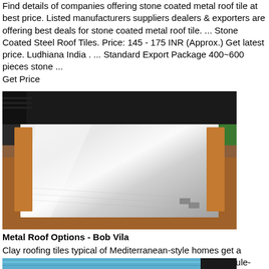Find details of companies offering stone coated metal roof tile at best price. Listed manufacturers suppliers dealers & exporters are offering best deals for stone coated metal roof tile. ... Stone Coated Steel Roof Tiles. Price: 145 - 175 INR (Approx.) Get latest price. Ludhiana India . ... Standard Export Package 400~600 pieces stone ... Get Price
[Figure (photo): Photo of a shiny metal roof sheet/panel placed on a wooden surface in an industrial or warehouse setting, with green shelving visible in the background.]
Metal Roof Options - Bob Vila
Clay roofing tiles typical of Mediterranean-style homes get a material upgrade via Metro Roofs to lightweight stone granule-coated steel.The scalloped roofing panels come in 18 colors (like ... Get Price
[Figure (photo): Partial photo showing blue-tinted metal roofing panels in a warehouse or industrial setting, cropped at the bottom of the page.]